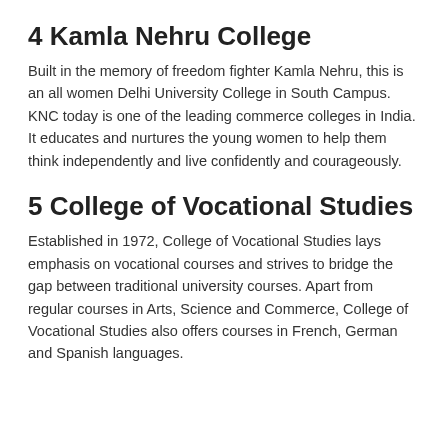4 Kamla Nehru College
Built in the memory of freedom fighter Kamla Nehru, this is an all women Delhi University College in South Campus. KNC today is one of the leading commerce colleges in India. It educates and nurtures the young women to help them think independently and live confidently and courageously.
5 College of Vocational Studies
Established in 1972, College of Vocational Studies lays emphasis on vocational courses and strives to bridge the gap between traditional university courses. Apart from regular courses in Arts, Science and Commerce, College of Vocational Studies also offers courses in French, German and Spanish languages.